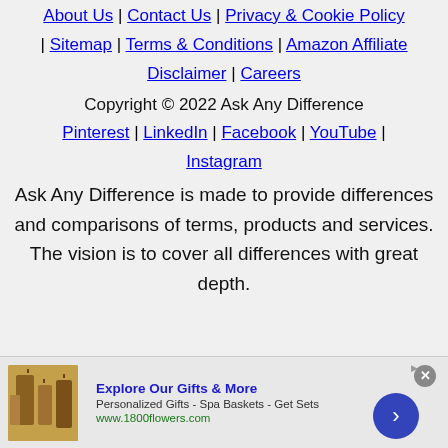About Us | Contact Us | Privacy & Cookie Policy | Sitemap | Terms & Conditions | Amazon Affiliate Disclaimer | Careers
Copyright © 2022 Ask Any Difference
Pinterest | LinkedIn | Facebook | YouTube | Instagram
Ask Any Difference is made to provide differences and comparisons of terms, products and services. The vision is to cover all differences with great depth.
[Figure (other): Advertisement banner for 1800flowers.com featuring gift products. Text: Explore Our Gifts & More. Personalized Gifts - Spa Baskets - Get Sets. www.1800flowers.com]